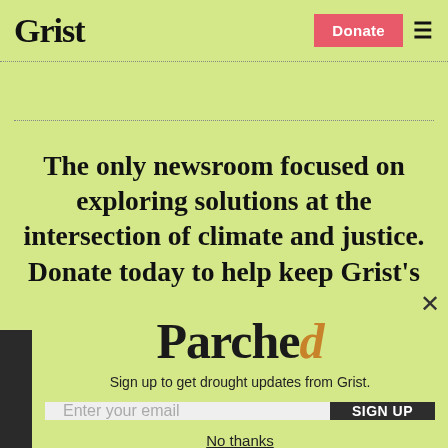Grist
The only newsroom focused on exploring solutions at the intersection of climate and justice. Donate today to help keep Grist's
Parched
Sign up to get drought updates from Grist.
Enter your email | SIGN UP
No thanks